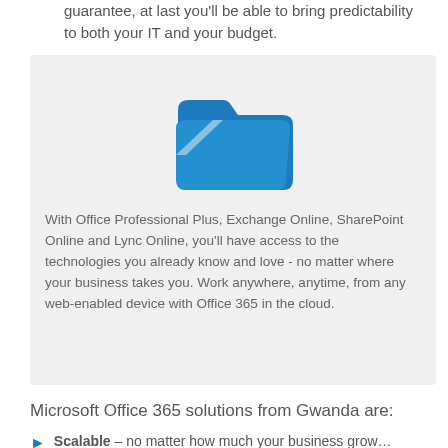guarantee, at last you'll be able to bring predictability to both your IT and your budget.
[Figure (illustration): Blue open folder icon on light grey card background]
With Office Professional Plus, Exchange Online, SharePoint Online and Lync Online, you'll have access to the technologies you already know and love - no matter where your business takes you. Work anywhere, anytime, from any web-enabled device with Office 365 in the cloud.
Microsoft Office 365 solutions from Gwanda are:
Scalable – no matter how much your business grow…